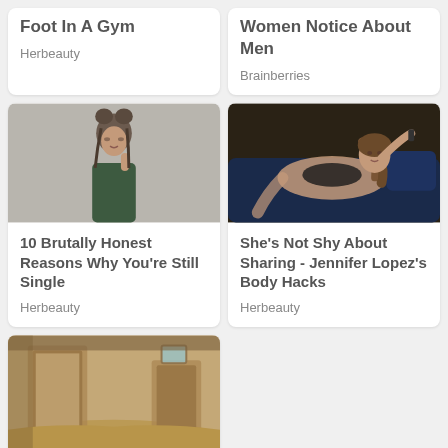[Figure (photo): Article card top cropped - Foot In A Gym, source Herbeauty]
[Figure (photo): Article card top cropped - Women Notice About Men, source Brainberries]
[Figure (photo): Young woman with double bun hairstyle biting her finger - 10 Brutally Honest Reasons Why You're Still Single, Herbeauty]
[Figure (photo): Woman in black lingerie posing on sofa - She's Not Shy About Sharing - Jennifer Lopez's Body Hacks, Herbeauty]
[Figure (photo): Abandoned sandy room interior - 8 Of The Creepiest Ghost Towns, partial card]